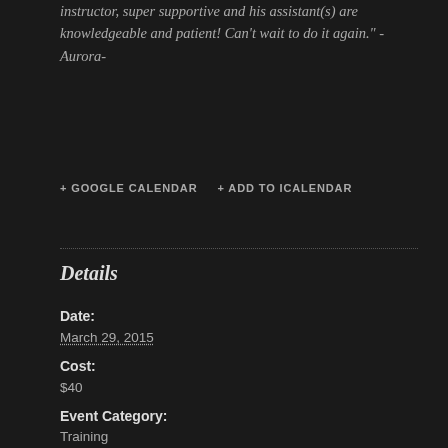instructor, super supportive and his assistant(s) are knowledgeable and patient!  Can't wait to do it again."  -Aurora-
+ GOOGLE CALENDAR    + ADD TO ICALENDAR
Details
Date:
March 29, 2015
Cost:
$40
Event Category:
Training
Event Tags:
Rappel